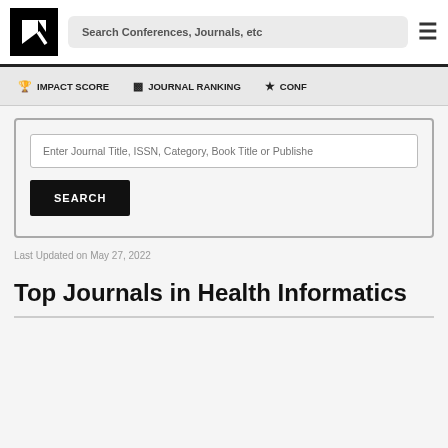Search Conferences, Journals, etc
🏆 IMPACT SCORE   📊 JOURNAL RANKING   ★ CONF
Enter Journal Title, ISSN, Category, Book Title or Publisher
SEARCH
Last Updated on May 27, 2022
Top Journals in Health Informatics